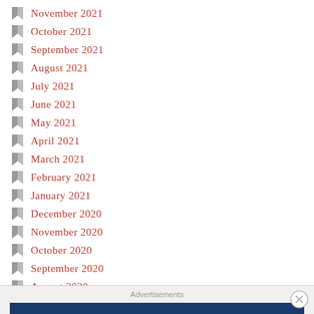November 2021
October 2021
September 2021
August 2021
July 2021
June 2021
May 2021
April 2021
March 2021
February 2021
January 2021
December 2020
November 2020
October 2020
September 2020
August 2020
July 2020
Advertisements